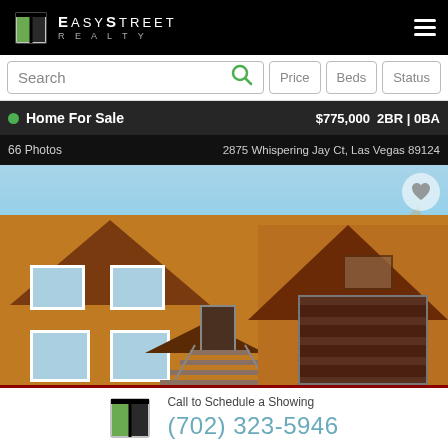EasyStreet Realty
Search | Price | Beds | Status
Home For Sale  $775,000  2BR | 0BA
66 Photos  2875 Whispering Jay Ct, Las Vegas 89124
[Figure (photo): Exterior photo of a two-story yellow/orange house with brown garage door and stairs, mountains in background]
Call to Schedule a Showing
(702) 323-5946